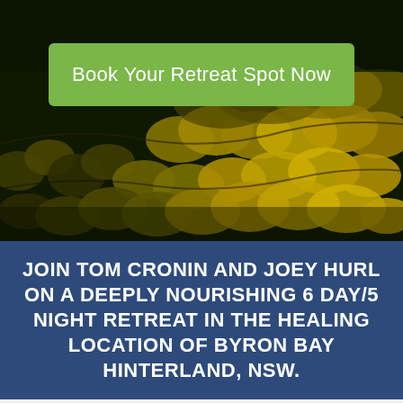[Figure (photo): Aerial view of a dense forest with dark shadows and golden/yellow-lit tree canopies, with a green button overlay reading 'Book Your Retreat Spot Now']
JOIN TOM CRONIN AND JOEY HURL ON A DEEPLY NOURISHING 6 DAY/5 NIGHT RETREAT IN THE HEALING LOCATION OF BYRON BAY HINTERLAND, NSW.